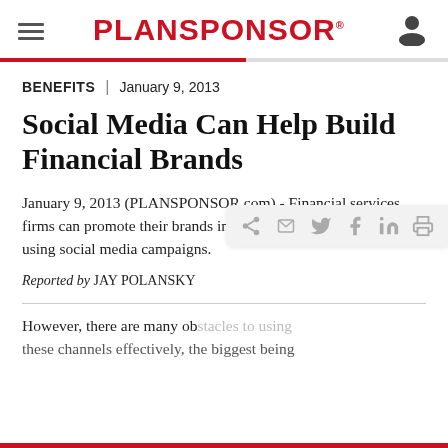PLANSPONSOR
BENEFITS  |  January 9, 2013
Social Media Can Help Build Financial Brands
January 9, 2013 (PLANSPONSOR.com) - Financial services firms can promote their brands inexpensively and effectively using social media campaigns.
Reported by JAY POLANSKY
However, there are many ob... these channels effectively, the biggest being